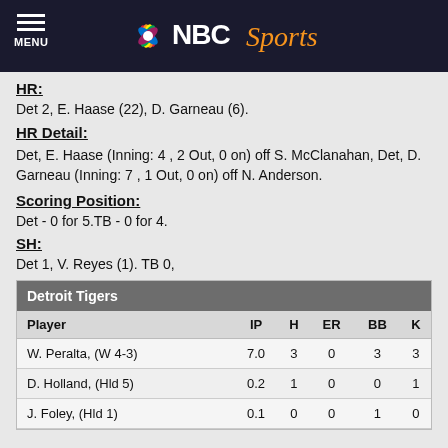NBC Sports
HR:
Det 2, E. Haase (22), D. Garneau (6).
HR Detail:
Det, E. Haase (Inning: 4 , 2 Out, 0 on) off S. McClanahan, Det, D. Garneau (Inning: 7 , 1 Out, 0 on) off N. Anderson.
Scoring Position:
Det - 0 for 5.TB - 0 for 4.
SH:
Det 1, V. Reyes (1). TB 0,
| Player | IP | H | ER | BB | K |
| --- | --- | --- | --- | --- | --- |
| W. Peralta, (W 4-3) | 7.0 | 3 | 0 | 3 | 3 |
| D. Holland, (Hld 5) | 0.2 | 1 | 0 | 0 | 1 |
| J. Foley, (Hld 1) | 0.1 | 0 | 0 | 1 | 0 |